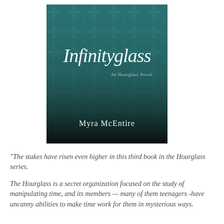[Figure (illustration): Book cover of 'Infinityglass' by Myra McEntire — A Hourglass Novel. Cover features ornate teal/dark teal damask wallpaper pattern background with decorative floral/scroll motifs. Title 'Infinityglass' in large white italic script font. Subtitle 'An Hourglass...' in smaller text. Author name 'Myra McEntire' in white serif font at the bottom. Bottom portion of the cover transitions to near-black.]
"The stakes have risen even higher in this third book in the Hourglass series.

The Hourglass is a secret organization focused on the study of manipulating time, and its members — many of them teenagers -have uncanny abilities to make time work for them in mysterious ways.